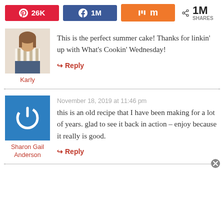[Figure (infographic): Social share bar with Pinterest 26K, Facebook 1M, Mix (orange button), and total 1M SHARES]
[Figure (photo): Profile photo of Karly - person in striped shirt]
Karly
This is the perfect summer cake! Thanks for linkin' up with What's Cookin' Wednesday!
Reply
November 18, 2019 at 11:46 pm
[Figure (logo): Blue square avatar with white power button icon for Sharon Gail Anderson]
Sharon Gail Anderson
this is an old recipe that I have been making for a lot of years. glad to see it back in action – enjoy because it really is good.
Reply